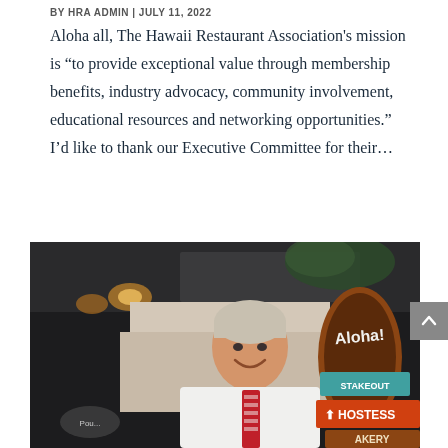BY HRA ADMIN | JULY 11, 2022
Aloha all, The Hawaii Restaurant Association's mission is “to provide exceptional value through membership benefits, industry advocacy, community involvement, educational resources and networking opportunities.” I’d like to thank our Executive Committee for their…
[Figure (photo): Man in white shirt and striped tie smiling in a restaurant setting with Aloha!, Stakeout, Hostess, and Bakery signs visible beside him.]